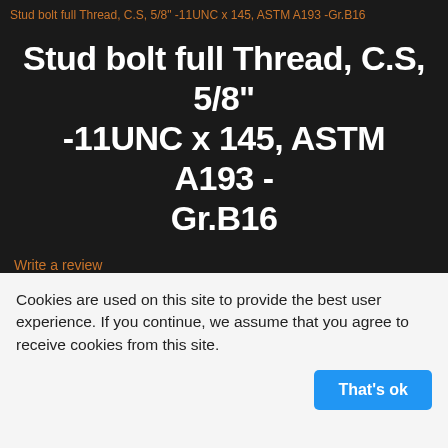Stud bolt full Thread, C.S, 5/8" -11UNC x 145, ASTM A193 -Gr.B16
Stud bolt full Thread, C.S, 5/8" -11UNC x 145, ASTM A193 - Gr.B16
Write a review
[Figure (photo): Close-up photo of threaded stud bolts (carbon steel, bronze/brown colored) with a red logo label reading THIEN NIEN VAN KY visible in the background]
Cookies are used on this site to provide the best user experience. If you continue, we assume that you agree to receive cookies from this site.